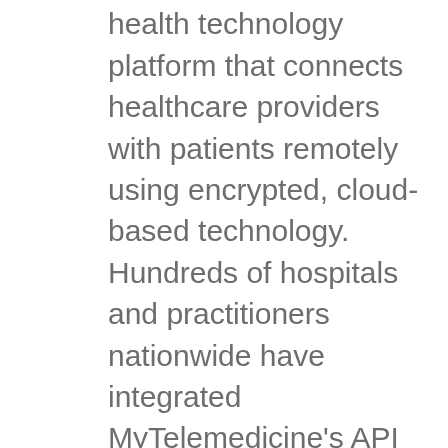state-of-the-art virtual health technology platform that connects healthcare providers with patients remotely using encrypted, cloud-based technology. Hundreds of hospitals and practitioners nationwide have integrated MyTelemedicine's API into their patient management systems to offer a customized telemedicine experience. Today, the company's flagship technology is used to service more than 3 million members with access to a proprietary nationwide network of physicians for primary and specialized care. The same platform also powers access to remote healthcare solutions through brands like